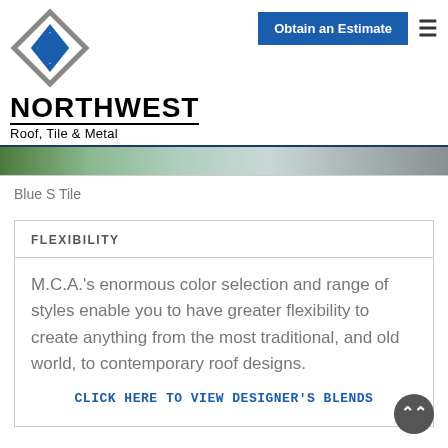[Figure (logo): Northwest Roof, Tile & Metal logo with diamond/arrow SVG icon above bold NORTHWEST text and subtitle Roof, Tile & Metal]
Obtain an Estimate
[Figure (photo): Partial aerial/landscape photo strip showing green landscape and a metal or tile roof surface]
Blue S Tile
| FLEXIBILITY |
| --- |
| M.C.A.'s enormous color selection and range of styles enable you to have greater flexibility to create anything from the most traditional, and old world, to contemporary roof designs. |
| CLICK HERE TO VIEW DESIGNER'S BLENDS |
[Figure (other): Scroll-to-top circular button with upward chevron arrows]